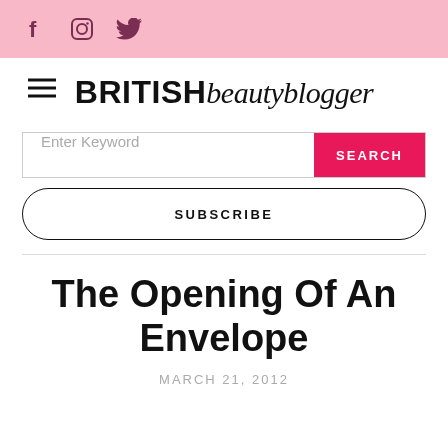f [instagram] [twitter] social icons
BRITISH beautyblogger
Enter Keyword SEARCH
SUBSCRIBE
The Opening Of An Envelope
MARCH 21, 2012